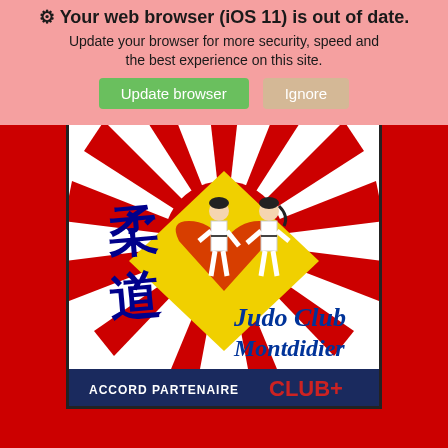Your web browser (iOS 11) is out of date. Update your browser for more security, speed and the best experience on this site.
[Figure (logo): Judo Club Montdidier logo featuring Japanese kanji for judo, two judoka bowing, a rising sun background with red rays, a yellow diamond/heart shape, and an 'Accord Partenaire CLUB+' banner at the bottom.]
JUDO CLUB DE MONTDIDIER